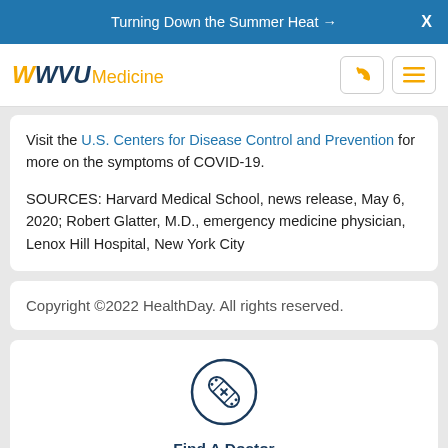Turning Down the Summer Heat →  X
[Figure (logo): WVU Medicine logo with flying WV in gold and dark blue, followed by 'Medicine' in gold text]
Visit the U.S. Centers for Disease Control and Prevention for more on the symptoms of COVID-19.
SOURCES: Harvard Medical School, news release, May 6, 2020; Robert Glatter, M.D., emergency medicine physician, Lenox Hill Hospital, New York City
Copyright ©2022 HealthDay. All rights reserved.
[Figure (illustration): Circle icon with a bandage/medical cross symbol inside, dark navy outline]
Find A Doctor